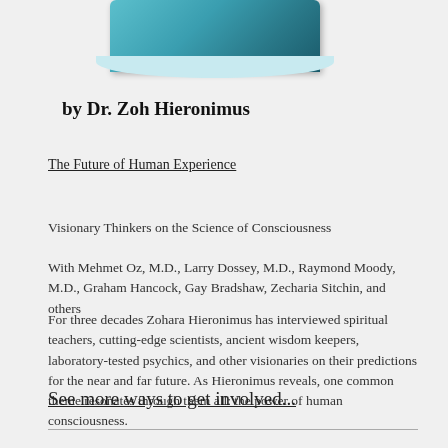[Figure (illustration): Book cover image with teal/blue gradient background showing 'J. Zohara Meyerhoff Hieronimus, D.H.L.' text]
by Dr. Zoh Hieronimus
The Future of Human Experience
Visionary Thinkers on the Science of Consciousness
With Mehmet Oz, M.D., Larry Dossey, M.D., Raymond Moody, M.D., Graham Hancock, Gay Bradshaw, Zecharia Sitchin, and others
For three decades Zohara Hieronimus has interviewed spiritual teachers, cutting-edge scientists, ancient wisdom keepers, laboratory-tested psychics, and other visionaries on their predictions for the near and far future. As Hieronimus reveals, one common theme resonates through them all: the power of human consciousness.
See more ways to get involved...